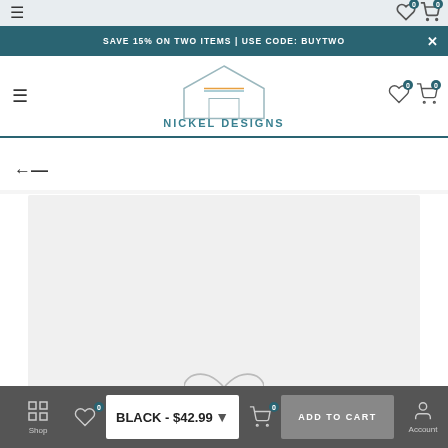SAVE 15% ON TWO ITEMS | USE CODE: BUYTWO
[Figure (logo): Nickel Designs logo with house icon and teal text]
[Figure (screenshot): Product image area with infinity symbol placeholder on light gray background]
BLACK - $42.99
ADD TO CART